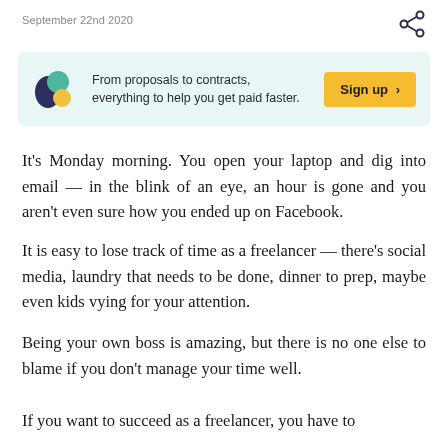September 22nd 2020
[Figure (infographic): Advertisement banner with colorful logo (dark blue, green, yellow circles), text 'From proposals to contracts, everything to help you get paid faster.' and a yellow 'Sign up >' button]
It's Monday morning. You open your laptop and dig into email — in the blink of an eye, an hour is gone and you aren't even sure how you ended up on Facebook.
It is easy to lose track of time as a freelancer — there's social media, laundry that needs to be done, dinner to prep, maybe even kids vying for your attention.
Being your own boss is amazing, but there is no one else to blame if you don't manage your time well.
If you want to succeed as a freelancer, you have to